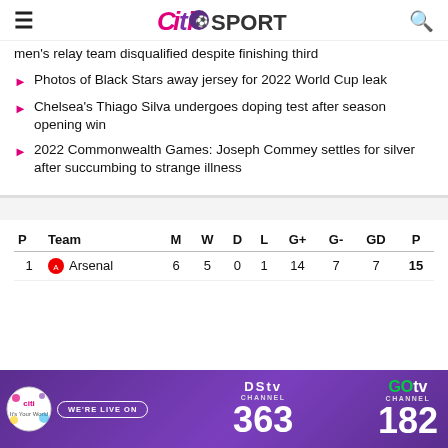Citi SPORTS
men's relay team disqualified despite finishing third
Photos of Black Stars away jersey for 2022 World Cup leak
Chelsea's Thiago Silva undergoes doping test after season opening win
2022 Commonwealth Games: Joseph Commey settles for silver after succumbing to strange illness
| P | Team | M | W | D | L | G+ | G- | GD | P |
| --- | --- | --- | --- | --- | --- | --- | --- | --- | --- |
| 1 | Arsenal | 6 | 5 | 0 | 1 | 14 | 7 | 7 | 15 |
[Figure (infographic): DStv Channel 363 and GOtv Channel 182 banner advertisement with Citi logo and WE'RE LIVE ON text]